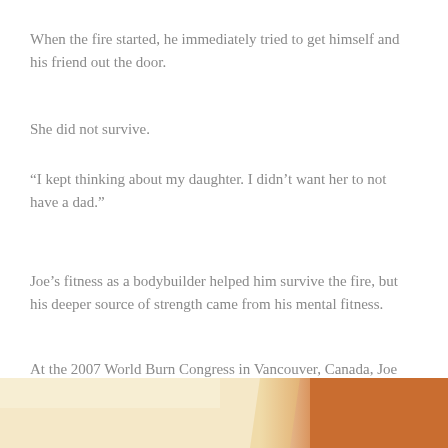When the fire started, he immediately tried to get himself and his friend out the door.
She did not survive.
“I kept thinking about my daughter. I didn’t want her to not have a dad.”
Joe’s fitness as a bodybuilder helped him survive the fire, but his deeper source of strength came from his mental fitness.
At the 2007 World Burn Congress in Vancouver, Canada, Joe met Carrie Pratt, a fellow burn survivor, and they became close friends.
[Figure (photo): Bottom portion of a photo showing warm-toned surfaces, partially visible at the bottom of the page.]